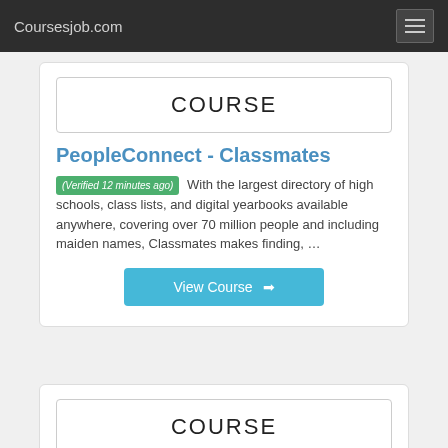Coursesjob.com
COURSE
PeopleConnect - Classmates
(Verified 12 minutes ago) With the largest directory of high schools, class lists, and digital yearbooks available anywhere, covering over 70 million people and including maiden names, Classmates makes finding, …
View Course
COURSE